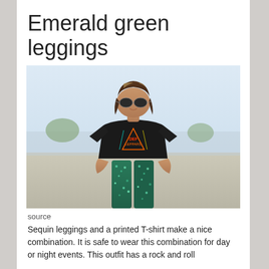Emerald green leggings
[Figure (photo): Woman wearing emerald green sequin leggings and a Def Leppard graphic band T-shirt, with sunglasses, standing outdoors in a casual pose with hands in pockets.]
source
Sequin leggings and a printed T-shirt make a nice combination. It is safe to wear this combination for day or night events. This outfit has a rock and roll